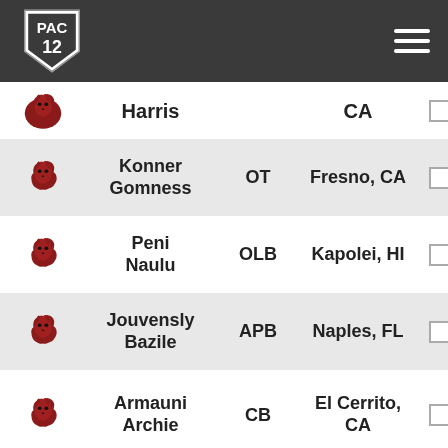PAC-12 Logo and navigation
| Logo | Name | Position | City |  |
| --- | --- | --- | --- | --- |
| WSU | Harris |  | CA |  |
| WSU | Konner Gomness | OT | Fresno, CA |  |
| WSU | Peni Naulu | OLB | Kapolei, HI |  |
| WSU | Jouvensly Bazile | APB | Naples, FL |  |
| WSU | Armauni Archie | CB | El Cerrito, CA |  |
| WSU | Bryce Beekman | S | Baton Rouge, LA |  |